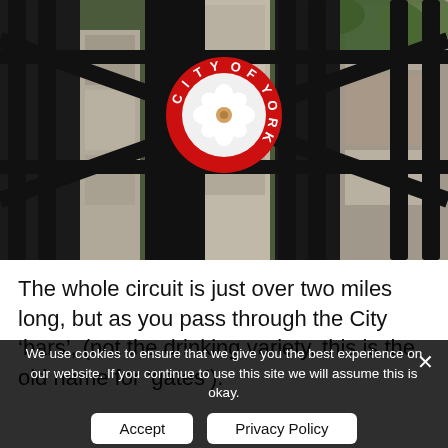[Figure (photo): Close-up photo of black iron gate bars with a red circular City of York emblem/badge at the center, showing a white rose design. Stone wall visible behind the gate, with green foliage in the background.]
The whole circuit is just over two miles long, but as you pass through the City ‘bars’, (not the drinking variety, this is the old name for ‘gates’).
We use cookies to ensure that we give you the best experience on our website. If you continue to use this site we will assume this is okay.